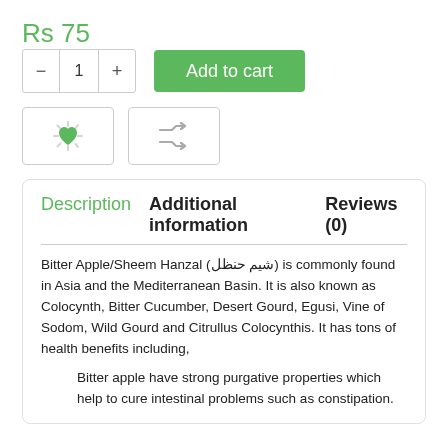Rs 75
[Figure (other): Quantity selector with minus, 1, plus buttons and green Add to cart button]
[Figure (other): Two icon buttons: a loading/heart icon and a shuffle/compare icon]
Description  Additional information  Reviews (0)
Bitter Apple/Sheem Hanzal (شيم حنظل) is commonly found in Asia and the Mediterranean Basin. It is also known as Colocynth, Bitter Cucumber, Desert Gourd, Egusi, Vine of Sodom, Wild Gourd and Citrullus Colocynthis. It has tons of health benefits including,
Bitter apple have strong purgative properties which help to cure intestinal problems such as constipation.